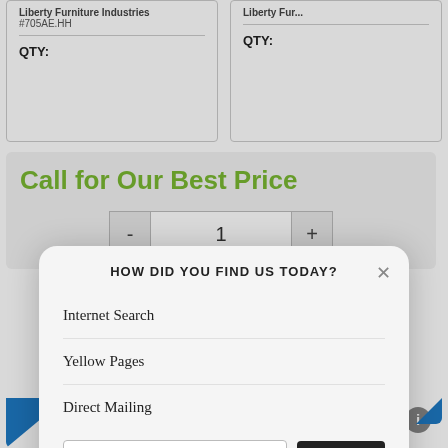Liberty Furniture Industries #705AE.HH QTY:
Liberty Fur... QTY:
Call for Our Best Price
[Figure (screenshot): Quantity stepper control with minus (-), value (1), and plus (+) buttons]
HOW DID YOU FIND US TODAY?
Internet Search
Yellow Pages
Direct Mailing
Other (please specify)
SUBMIT